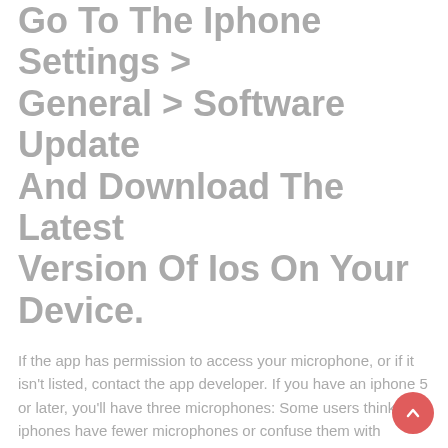Go To The Iphone Settings > General > Software Update And Download The Latest Version Of Ios On Your Device.
If the app has permission to access your microphone, or if it isn't listed, contact the app developer. If you have an iphone 5 or later, you'll have three microphones: Some users think their iphones have fewer microphones or confuse them with speaker grills because they are only visible on certain.
Facts And Troubleshooting Steps Taken: